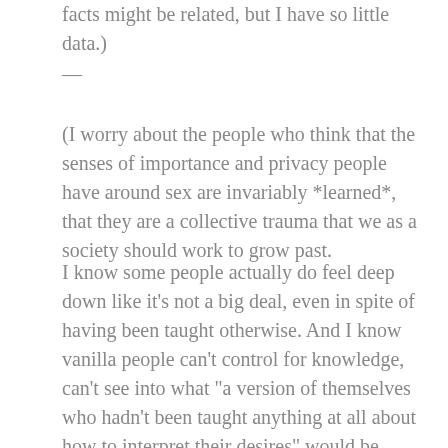facts might be related, but I have so little data.)
—
(I worry about the people who think that the senses of importance and privacy people have around sex are invariably *learned*, that they are a collective trauma that we as a society should work to grow past.
I know some people actually do feel deep down like it's not a big deal, even in spite of having been taught otherwise. And I know vanilla people can't control for knowledge, can't see into what "a version of themselves who hadn't been taught anything at all about how to interpret their desires" would be like. But I can, and I know that I could never have been